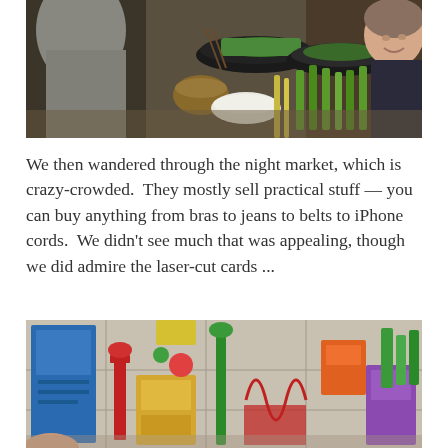[Figure (photo): Two people at a cooking station with pans, bowls of vegetables including green herbs/scallions, rice, and other ingredients spread across a table. A woman is visible smiling in the background right.]
We then wandered through the night market, which is crazy-crowded.  They mostly sell practical stuff — you can buy anything from bras to jeans to belts to iPhone cords.  We didn't see much that was appealing, though we did admire the laser-cut cards ...
[Figure (photo): Display of colorful laser-cut paper/cardstock decorative items and cards spread across a table at a night market stall, with various 3D pop-up style decorations in red, blue, green, and other colors.]